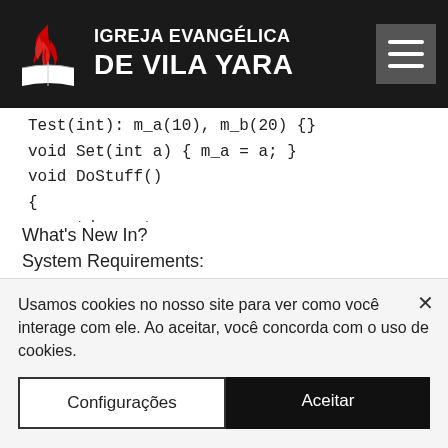IGREJA EVANGÉLICA DE VILA YARA
Test(int): m_a(10), m_b(20) {}
void Set(int a) { m_a = a; }
void DoStuff()
{
    std::cout
What's New In?
System Requirements:
Graphics:
Minimum Recommended:
Intel Core 2 Duo 2.5 GHz or equivalent
AMD Athlon X2 2.6 GHz or equivalent
Windows XP, Vista, 7
Usamos cookies no nosso site para ver como você interage com ele. Ao aceitar, você concorda com o uso de cookies.